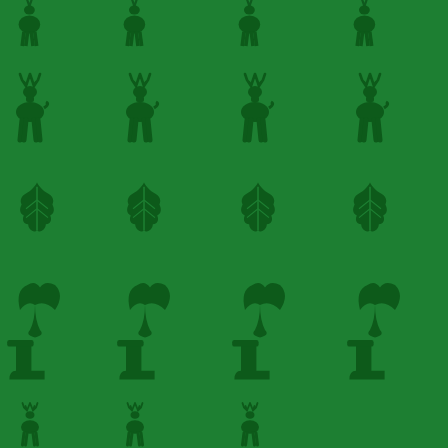[Figure (illustration): Green background with repeating pattern of dark green silhouettes including deer/stag figures, oak leaves, acorns, mushrooms, and other forest/nature motifs arranged in a 4-column grid across the page.]